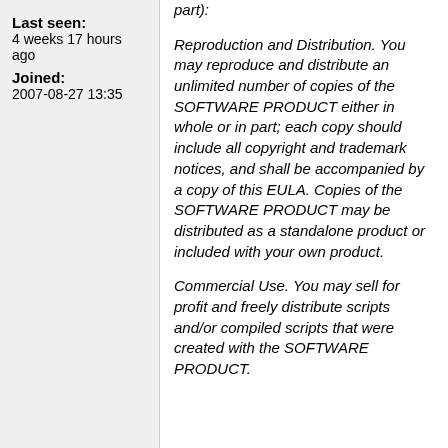Last seen: 4 weeks 17 hours ago
Joined: 2007-08-27 13:35
part):
Reproduction and Distribution. You may reproduce and distribute an unlimited number of copies of the SOFTWARE PRODUCT either in whole or in part; each copy should include all copyright and trademark notices, and shall be accompanied by a copy of this EULA. Copies of the SOFTWARE PRODUCT may be distributed as a standalone product or included with your own product.
Commercial Use. You may sell for profit and freely distribute scripts and/or compiled scripts that were created with the SOFTWARE PRODUCT.